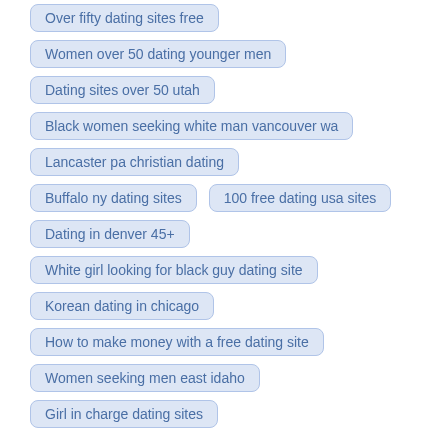Over fifty dating sites free
Women over 50 dating younger men
Dating sites over 50 utah
Black women seeking white man vancouver wa
Lancaster pa christian dating
Buffalo ny dating sites
100 free dating usa sites
Dating in denver 45+
White girl looking for black guy dating site
Korean dating in chicago
How to make money with a free dating site
Women seeking men east idaho
Girl in charge dating sites